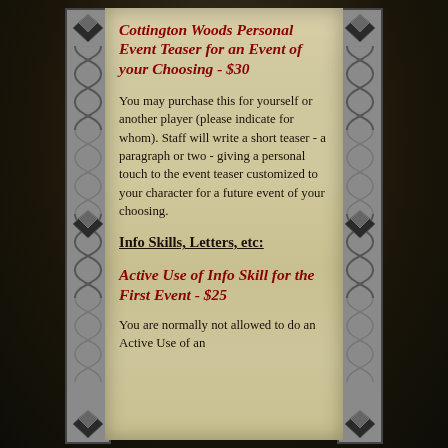Cottington Woods Personal Event Teaser for an Event of your Choosing - $30
You may purchase this for yourself or another player (please indicate for whom). Staff will write a short teaser - a paragraph or two - giving a personal touch to the event teaser customized to your character for a future event of your choosing.
Info Skills, Letters, etc:
Active Use of Info Skill for the First Event - $25
You are normally not allowed to do an Active Use of an